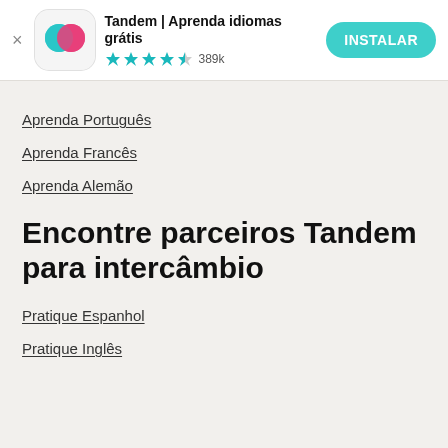[Figure (screenshot): Tandem app banner ad with logo, app name, star rating 389k, and INSTALAR button]
Aprenda Português
Aprenda Francês
Aprenda Alemão
Encontre parceiros Tandem para intercâmbio
Pratique Espanhol
Pratique Inglês